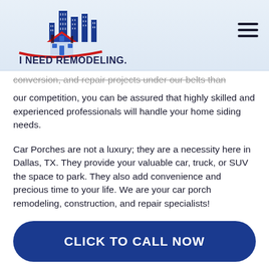I NEED REMODELING.
conversion, and repair projects under our belts than our competition, you can be assured that highly skilled and experienced professionals will handle your home siding needs.
Car Porches are not a luxury; they are a necessity here in Dallas, TX. They provide your valuable car, truck, or SUV the space to park. They also add convenience and precious time to your life. We are your car porch remodeling, construction, and repair specialists!
CLICK TO CALL NOW
porches and even outdoor enclosures, you can start